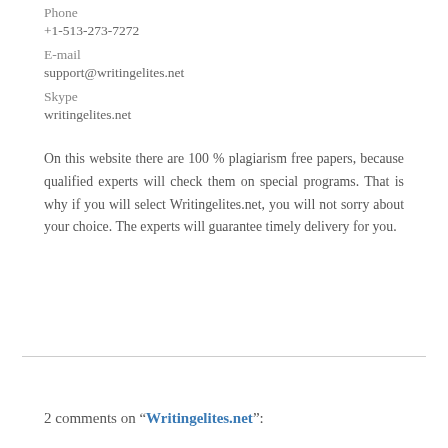Phone
+1-513-273-7272
E-mail
support@writingelites.net
Skype
writingelites.net
On this website there are 100 % plagiarism free papers, because qualified experts will check them on special programs. That is why if you will select Writingelites.net, you will not sorry about your choice. The experts will guarantee timely delivery for you.
2 comments on “Writingelites.net”: